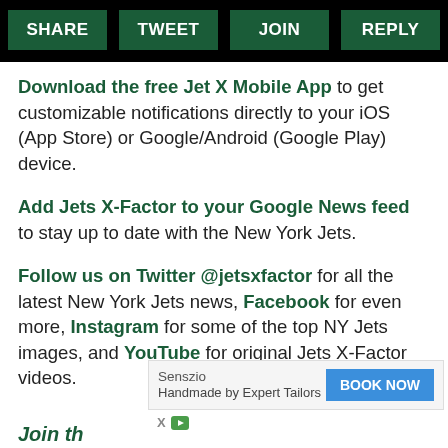SHARE | TWEET | JOIN | REPLY
Download the free Jet X Mobile App to get customizable notifications directly to your iOS (App Store) or Google/Android (Google Play) device.
Add Jets X-Factor to your Google News feed to stay up to date with the New York Jets.
Follow us on Twitter @jetsxfactor for all the latest New York Jets news, Facebook for even more, Instagram for some of the top NY Jets images, and YouTube for original Jets X-Factor videos.
[Figure (screenshot): Advertisement banner: Senszio - Handmade by Expert Tailors with BOOK NOW button]
Join th...